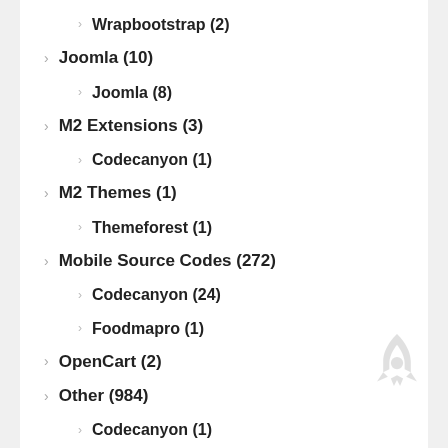Wrapbootstrap (2)
Joomla (10)
Joomla (8)
M2 Extensions (3)
Codecanyon (1)
M2 Themes (1)
Themeforest (1)
Mobile Source Codes (272)
Codecanyon (24)
Foodmapro (1)
OpenCart (2)
Other (984)
Codecanyon (1)
GFX (15)